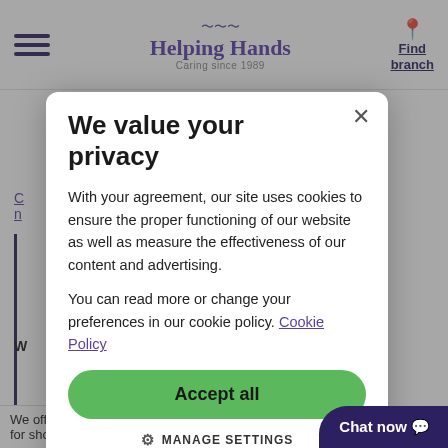Helping Hands — Caring since 1989
We value your privacy
With your agreement, our site uses cookies to ensure the proper functioning of our website as well as measure the effectiveness of our content and advertising.
You can read more or change your preferences in our cookie policy. Cookie Policy
Accept all
MANAGE SETTINGS
We offer two types of services: visiting care is for short...